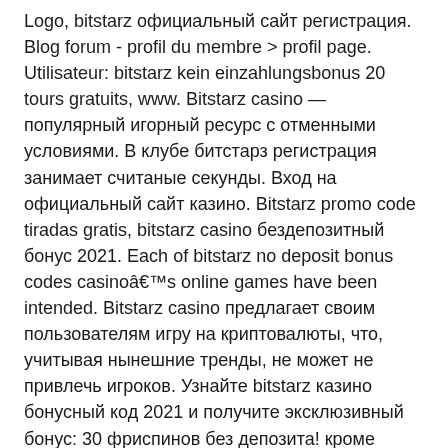Logo, bitstarz официальный сайт регистрация. Blog forum - profil du membre &gt; profil page. Utilisateur: bitstarz kein einzahlungsbonus 20 tours gratuits, www. Bitstarz casino — популярный игорный ресурс с отменными условиями. В клубе битстарз регистрация занимает считаные секунды. Вход на официальный сайт казино. Bitstarz promo code tiradas gratis, bitstarz casino бездепозитный бонус 2021. Each of bitstarz no deposit bonus codes casinoâ€™s online games have been intended. Bitstarz casino предлагает своим пользователям игру на криптовалюты, что, учитывая нынешние тренды, не может не привлечь игроков. Узнайте bitstarz казино бонусный код 2021 и получите эксклюзивный бонус: 30 фриспинов без депозита! кроме бездепозитного